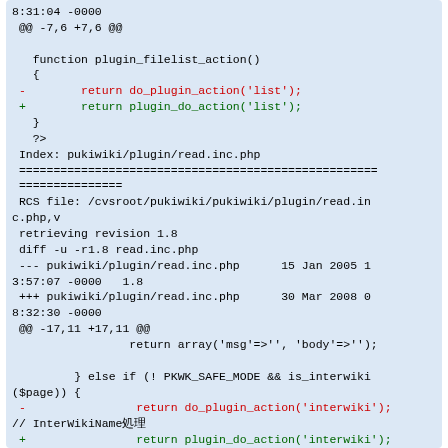8:31:04 -0000
 @@ -7,6 +7,6 @@

   function plugin_filelist_action()
   {
 -        return do_plugin_action('list');
 +        return plugin_do_action('list');
   }
   ?>
  Index: pukiwiki/plugin/read.inc.php
 =====================================================================
 RCS file: /cvsroot/pukiwiki/pukiwiki/plugin/read.inc.php,v
 retrieving revision 1.8
 diff -u -r1.8 read.inc.php
 --- pukiwiki/plugin/read.inc.php        15 Jan 2005 13:57:07 -0000   1.8
 +++ pukiwiki/plugin/read.inc.php        30 Mar 2008 08:32:30 -0000
 @@ -17,11 +17,11 @@
                 return array('msg'=>'', 'body'=>'');

         } else if (! PKWK_SAFE_MODE && is_interwiki($page)) {
 -                return do_plugin_action('interwiki');
 // InterWikiName処理
 +                return plugin_do_action('interwiki');
 // InterWikiName処理